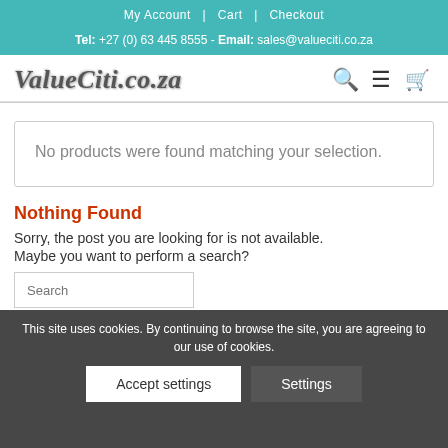My Account | Cart | Checkout
Tel: +27 (0) 63 445 8555 - Email: sales@valueciti.co.za
[Figure (logo): ValueCiti.co.za logo with search, menu, and cart icons]
No products were found matching your selection.
Nothing Found
Sorry, the post you are looking for is not available. Maybe you want to perform a search?
This site uses cookies. By continuing to browse the site, you are agreeing to our use of cookies. Accept settings  Settings